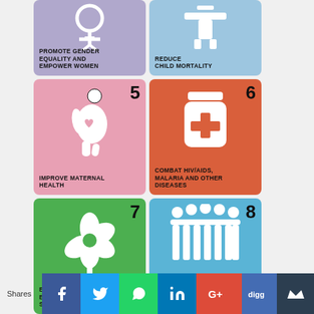[Figure (infographic): MDG Goal 3 card - purple/lavender background. Icon: female/gender symbol. Text: PROMOTE GENDER EQUALITY AND EMPOWER WOMEN]
[Figure (infographic): MDG Goal 4 card - light blue background. Icon: standing figure (child). Text: REDUCE CHILD MORTALITY]
[Figure (infographic): MDG Goal 5 card - pink background. Number 5. Icon: pregnant woman silhouette with heart. Text: IMPROVE MATERNAL HEALTH]
[Figure (infographic): MDG Goal 6 card - red/orange background. Number 6. Icon: medicine jar with cross. Text: COMBAT HIV/AIDS, MALARIA AND OTHER DISEASES]
[Figure (infographic): MDG Goal 7 card - green background. Number 7. Icon: flower/plant. Text: ENSURE ENVIRONMENTAL SUSTAINABILITY]
[Figure (infographic): MDG Goal 8 card - blue background. Number 8. Icon: group of people. Text: A GLOBAL PARTNERSHIP FOR DEVELOPMENT]
[Figure (infographic): Social sharing bar with Shares label and icons: Facebook, Twitter, WhatsApp, LinkedIn, Google+, Digg, Crown/Meks]